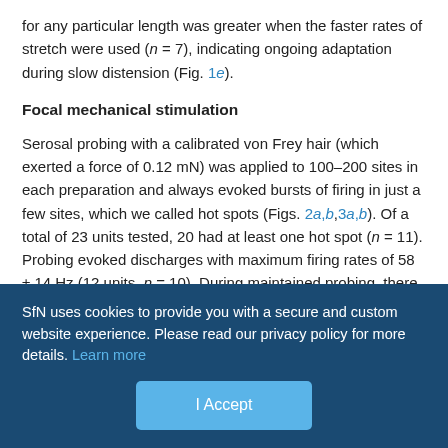for any particular length was greater when the faster rates of stretch were used (n = 7), indicating ongoing adaptation during slow distension (Fig. 1e).
Focal mechanical stimulation
Serosal probing with a calibrated von Frey hair (which exerted a force of 0.12 mN) was applied to 100–200 sites in each preparation and always evoked bursts of firing in just a few sites, which we called hot spots (Figs. 2a,b,3a,b). Of a total of 23 units tested, 20 had at least one hot spot (n = 11). Probing evoked discharges with maximum firing rates of 58 ± 14 Hz (12 units, n = 10). During maintained probing, there was adaptation of firing but never back to the spontaneous discharge rate. After withdrawal of the probe,
SfN uses cookies to provide you with a secure and custom website experience. Please read our privacy policy for more details. Learn more
I Accept